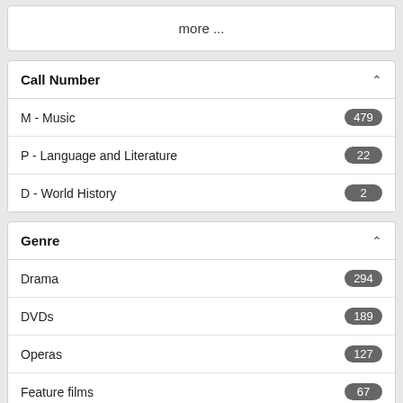more ...
Call Number
M - Music 479
P - Language and Literature 22
D - World History 2
Genre
Drama 294
DVDs 189
Operas 127
Feature films 67